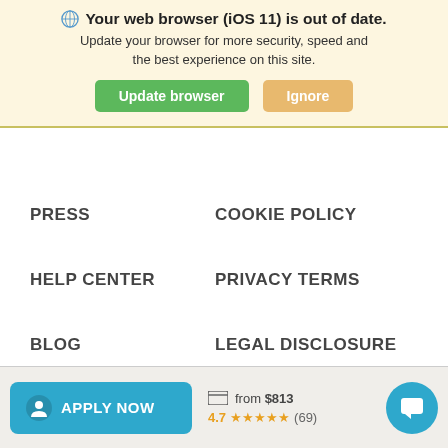Your web browser (iOS 11) is out of date. Update your browser for more security, speed and the best experience on this site.
Update browser | Ignore
PRESS
COOKIE POLICY
HELP CENTER
PRIVACY TERMS
BLOG
LEGAL DISCLOSURE
© Volunteer World
APPLY NOW  from $813  4.7 ★★★★★ (69)